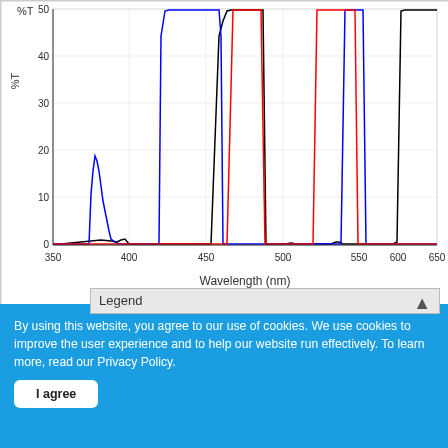[Figure (continuous-plot): Spectral transmission chart showing %T (0-50) vs Wavelength 350-650 nm with black, blue, and red line traces showing filter transmission peaks and blocking regions]
All transmission and blocking (OD) data are actual, measured spectra of representative production lots. Spectra varies slightly from lot to lot. Optical density values in excess of 6 may appear noisy because such evaluations push the resolution limit of low light level measurements.
By using this website, you agree to our use of cookies. We use cookies to improve the user experience and to help our website run effectively. To learn more, read our Privacy Policy.
I agree
Legend